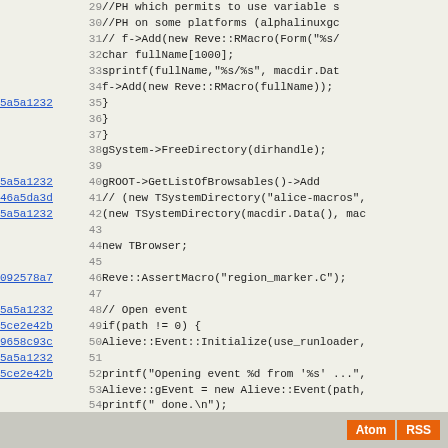[Figure (screenshot): Source code viewer showing lines 29-57 of a C++ file with commit hashes in the left margin and line numbers. Code includes gSystem->FreeDirectory, gROOT->GetListOfBrowsables, new TBrowser, Reve::AssertMacro, and Alieve event initialization.]
Atom  RSS